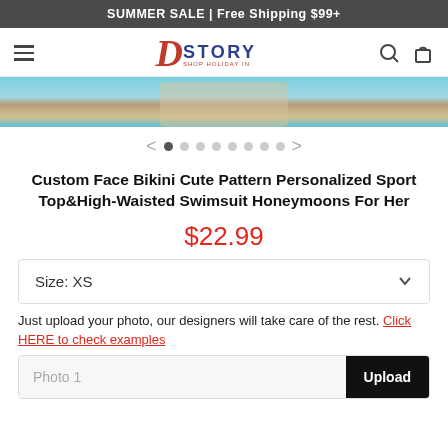SUMMER SALE | Free Shipping $99+
[Figure (logo): DStory Shop Holiday In logo with red D and blue STORY text]
[Figure (photo): Product photo of a custom face bikini swimsuit, partial view showing swimsuit top area with blue water background]
Custom Face Bikini Cute Pattern Personalized Sport Top&High-Waisted Swimsuit Honeymoons For Her
$22.99
Size: XS
Just upload your photo, our designers will take care of the rest. Click HERE to check examples